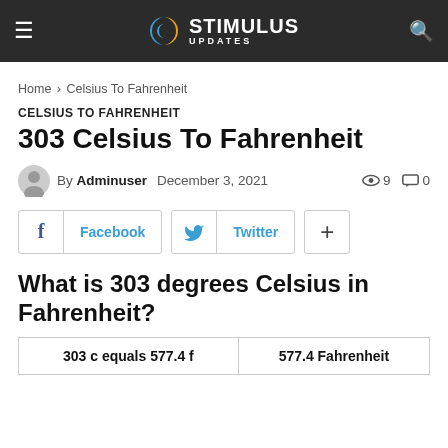STIMULUS UPDATES
Home › Celsius To Fahrenheit
CELSIUS TO FAHRENHEIT
303 Celsius To Fahrenheit
By Adminuser   December 3, 2021   👁 9  💬 0
Facebook   Twitter   +
What is 303 degrees Celsius in Fahrenheit?
| 303 c equals 577.4 f | 577.4 Fahrenheit |